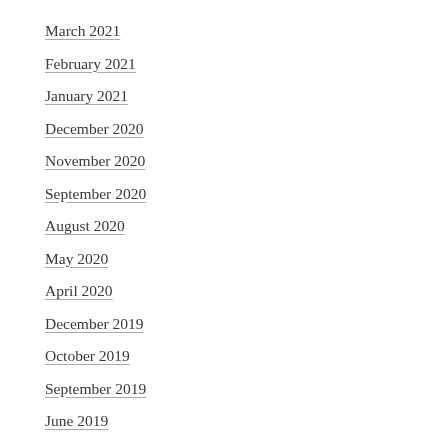March 2021
February 2021
January 2021
December 2020
November 2020
September 2020
August 2020
May 2020
April 2020
December 2019
October 2019
September 2019
June 2019
May 2019